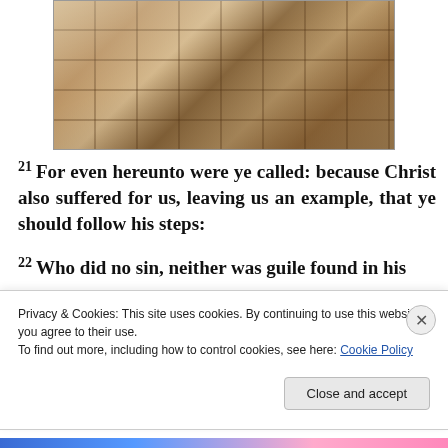[Figure (photo): A figure bending down over stone paving slabs, touching the ground with one hand, wearing white clothing, with wooden post visible.]
21 For even hereunto were ye called: because Christ also suffered for us, leaving us an example, that ye should follow his steps:
22 Who did no sin, neither was guile found in his
Privacy & Cookies: This site uses cookies. By continuing to use this website, you agree to their use.
To find out more, including how to control cookies, see here: Cookie Policy
Close and accept